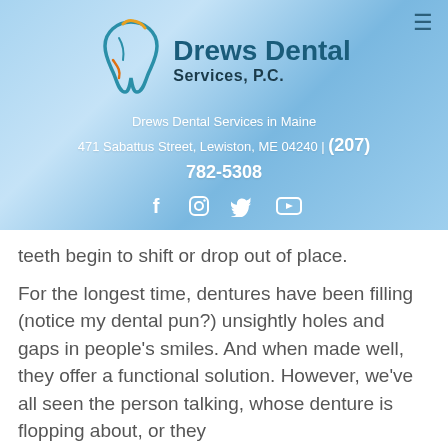[Figure (logo): Drews Dental Services P.C. logo with tooth graphic in teal and gold]
Drews Dental Services in Maine
471 Sabattus Street, Lewiston, ME 04240 | (207) 782-5308
[Figure (infographic): Social media icons: Facebook, Instagram, Twitter, YouTube]
teeth begin to shift or drop out of place.
For the longest time, dentures have been filling (notice my dental pun?) unsightly holes and gaps in people's smiles. And when made well, they offer a functional solution. However, we've all seen the person talking, whose denture is flopping about, or they